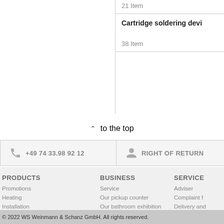21 Item
Cartridge soldering devi...
38 Item
^ to the top
+49 74 33.98 92 12
RIGHT OF RETURN
PRODUCTS
Promotions
Heating
Installation
Plumbing
Equipment
Tool
Ventilation
Spare parts
BUSINESS
Service
Our pickup counter
Our bathroom exhibition
Social engagement
Careers
SERVICE
Adviser
Complaint f...
Delivery and...
Ordering op...
Right of ret...
...weitere K...
© 2022 WS Weinmann & Schanz GmbH. All rights reserved.